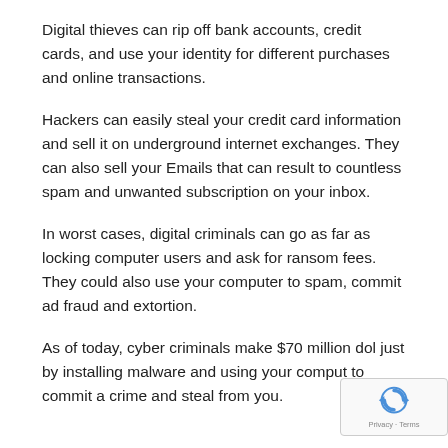Digital thieves can rip off bank accounts, credit cards, and use your identity for different purchases and online transactions.
Hackers can easily steal your credit card information and sell it on underground internet exchanges. They can also sell your Emails that can result to countless spam and unwanted subscription on your inbox.
In worst cases, digital criminals can go as far as locking computer users and ask for ransom fees. They could also use your computer to spam, commit ad fraud and extortion.
As of today, cyber criminals make $70 million dol just by installing malware and using your comput to commit a crime and steal from you.